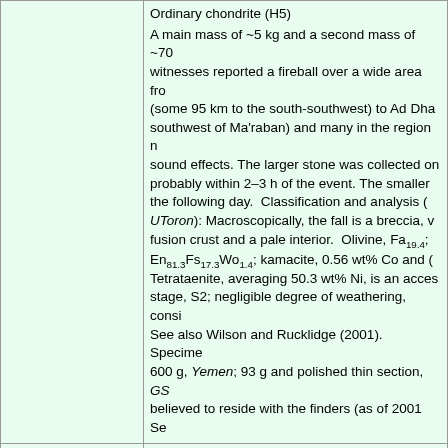Ordinary chondrite (H5) A main mass of ~5 kg and a second mass of ~70 g; witnesses reported a fireball over a wide area from (some 95 km to the south-southwest) to Ad Dhali, southwest of Ma'raban) and many in the region noted sound effects. The larger stone was collected on probably within 2–3 h of the event. The smaller the following day. Classification and analysis (UToron): Macroscopically, the fall is a breccia, fusion crust and a pale interior. Olivine, Fa19.4; En81.3Fs17.3Wo1.4; kamacite, 0.56 wt% Co and Tetrataenite, averaging 50.3 wt% Ni, is an accessory stage, S2; negligible degree of weathering, considered. See also Wilson and Rucklidge (2001). Specimen: 600 g, Yemen; 93 g and polished thin section, GSC; believed to reside with the finders (as of 2001 Sep
Institutions and collections
GSC: National Meteorite Collection, Geological Survey of Canada, Booth Street, Ottawa, Ontario, K1A 0E8, Canada (institutional address; updated 27 Feb 2011) UToron: IsoTrace Laboratory, University of Toronto, 60 St. George Street, Toronto, Ontario M5S 1A7, Canada (institutional address) Yemen: Geological Survey of Yemen, c/o Dr. M.A. Museum of the Mineral Resources and Geological Survey Authority, Maalla-Aden, P.O. Box 5877, Yemen (institutional address)